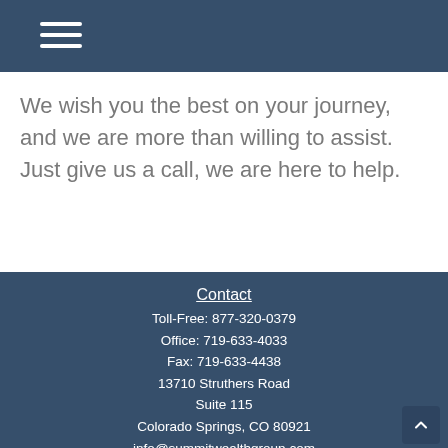Navigation menu (hamburger icon)
We wish you the best on your journey, and we are more than willing to assist. Just give us a call, we are here to help.
Contact
Toll-Free: 877-320-0379
Office: 719-633-4033
Fax: 719-633-4438
13710 Struthers Road
Suite 115
Colorado Springs, CO 80921
info@summitwealthgroup.com